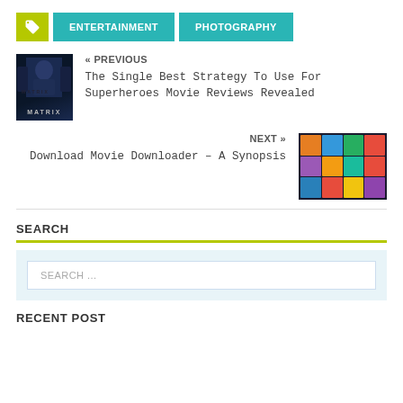ENTERTAINMENT | PHOTOGRAPHY
« PREVIOUS
The Single Best Strategy To Use For Superheroes Movie Reviews Revealed
NEXT »
Download Movie Downloader – A Synopsis
SEARCH
SEARCH ...
RECENT POST